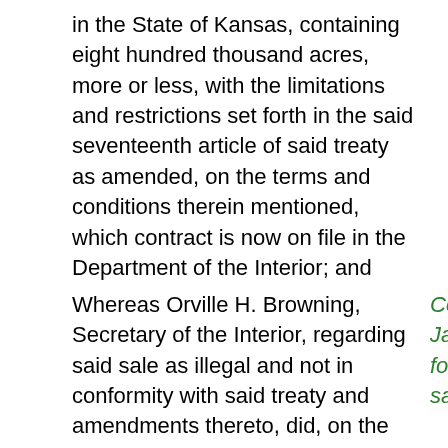in the State of Kansas, containing eight hundred thousand acres, more or less, with the limitations and restrictions set forth in the said seventeenth article of said treaty as amended, on the terms and conditions therein mentioned, which contract is now on file in the Department of the Interior; and
Whereas Orville H. Browning, Secretary of the Interior, regarding said sale as illegal and not in conformity with said treaty and amendments thereto, did, on the ninth day of October, A.
Contract with James F. Joy for sale of same lands.